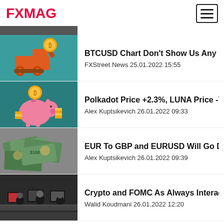FXMAG
[Figure (photo): Partial view of a dark banner/image at the top of the article list]
[Figure (photo): A toy excavator/loader with a Bitcoin coin on teal background]
BTCUSD Chart Don't Show Us Any More T
FXStreet News 25.01.2022 15:55
[Figure (photo): A pink piggy bank with gold coins and a floating Bitcoin coin on teal background]
Polkadot Price +2.3%, LUNA Price -7.4%,
Alex Kuptsikevich 26.01.2022 09:33
[Figure (photo): Pile of US dollar banknotes]
EUR To GBP and EURUSD Will Go Down
Alex Kuptsikevich 26.01.2022 09:39
[Figure (photo): Black and white photo of people working at trading desks with monitors]
Crypto and FOMC As Always Interact, Wa
Walid Koudmani 26.01.2022 12:20